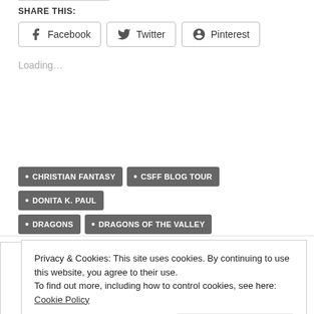SHARE THIS:
Facebook  Twitter  Pinterest
Loading…
CHRISTIAN FANTASY
CSFF BLOG TOUR
DONITA K. PAUL
DRAGONS
DRAGONS OF THE VALLEY
Privacy & Cookies: This site uses cookies. By continuing to use this website, you agree to their use.
To find out more, including how to control cookies, see here: Cookie Policy
Close and accept